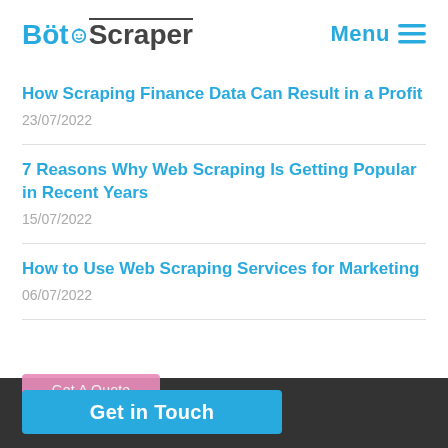BotScraper | Menu
How Scraping Finance Data Can Result in a Profit
23/07/2022
7 Reasons Why Web Scraping Is Getting Popular in Recent Years
15/07/2022
How to Use Web Scraping Services for Marketing
06/07/2022
Get A Quote | Get in Touch